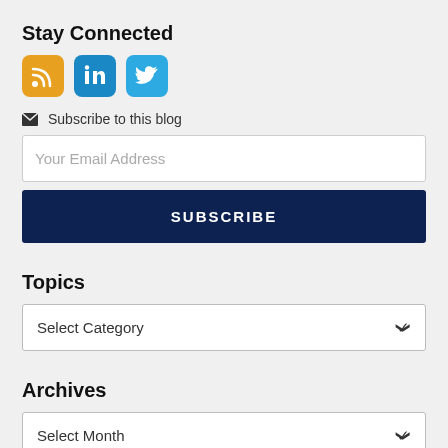Stay Connected
[Figure (illustration): Three social media icons: RSS (orange), LinkedIn (blue), Twitter (light blue)]
✉ Subscribe to this blog
Your Email Address
SUBSCRIBE
Topics
Select Category
Archives
Select Month